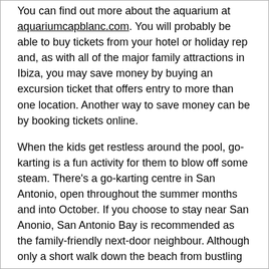You can find out more about the aquarium at aquariumcapblanc.com. You will probably be able to buy tickets from your hotel or holiday rep and, as with all of the major family attractions in Ibiza, you may save money by buying an excursion ticket that offers entry to more than one location. Another way to save money can be by booking tickets online.
When the kids get restless around the pool, go-karting is a fun activity for them to blow off some steam. There's a go-karting centre in San Antonio, open throughout the summer months and into October. If you choose to stay near San Anonio, San Antonio Bay is recommended as the family-friendly next-door neighbour. Although only a short walk down the beach from bustling San Antonio, San Antonio Bay is that little bit more peaceful and, as a result, is popular with families and couples rather than just hard-core clubbers. Rosamar Ibiza is a three-star hotel in the San Antonio Bay area with evening entertainment put on that's child-friendly but which people of all ages can enjoy.
As well as the family-friendly attractions on offer in Ibiza,